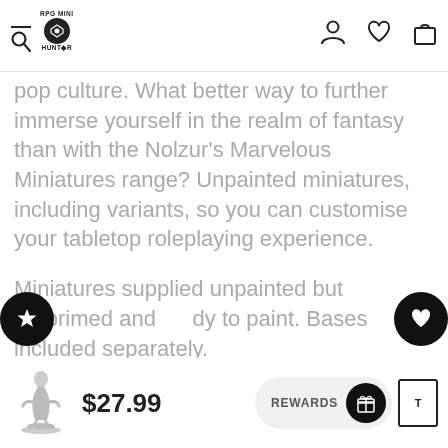RPG Mini Hunter
pop culture. What better way to further immerse yourself in the realm of fantasy than with the Nolzur's Marvelous Miniatures range? Unpainted miniatures, including variants, so you can customise your tabletop roleplaying experience.

Miniatures supplied unpainted but preprimed and ready to paint. Bases included separately.
$27.99  REWARDS